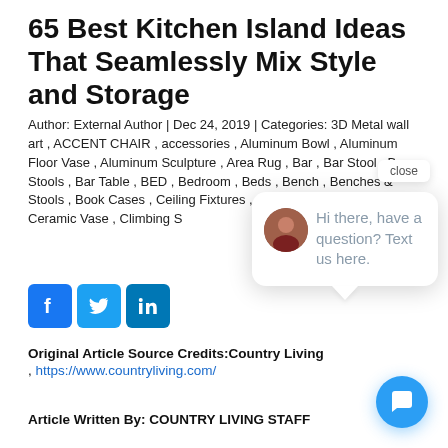65 Best Kitchen Island Ideas That Seamlessly Mix Style and Storage
Author: External Author | Dec 24, 2019 | Categories: 3D Metal wall art , ACCENT CHAIR , accessories , Aluminum Bowl , Aluminum Floor Vase , Aluminum Sculpture , Area Rug , Bar , Bar Stool , Bar Stools , Bar Table , BED , Bedroom , Beds , Bench , Benches & Stools , Book Cases , Ceiling Fixtures , Center Table , centre table , Ceramic Vase , Climbing S... Table
[Figure (screenshot): Chat popup overlay with avatar, close button, and message: Hi there, have a question? Text us here.]
[Figure (other): Social media icons: Facebook, Twitter, LinkedIn]
Original Article Source Credits:Country  Living , https://www.countryliving.com/
Article Written By:  COUNTRY LIVING STAFF